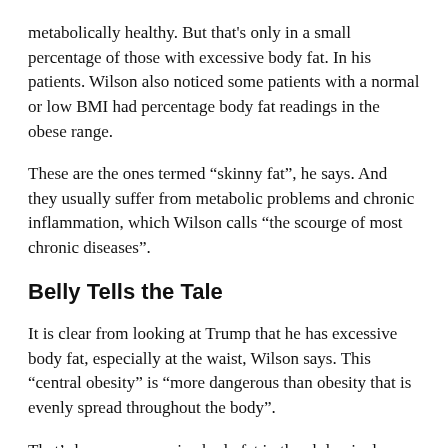metabolically healthy. But that's only in a small percentage of those with excessive body fat. In his patients. Wilson also noticed some patients with a normal or low BMI had percentage body fat readings in the obese range.
These are the ones termed “skinny fat”, he says. And they usually suffer from metabolic problems and chronic inflammation, which Wilson calls “the scourge of most chronic diseases”.
Belly Tells the Tale
It is clear from looking at Trump that he has excessive body fat, especially at the waist, Wilson says. This “central obesity” is “more dangerous than obesity that is evenly spread throughout the body”.
That’s because excessive body fat in the abdominal area is highly correlated with chronic inflammation in the body. And this type of inflammation drives virtually all serious chronic